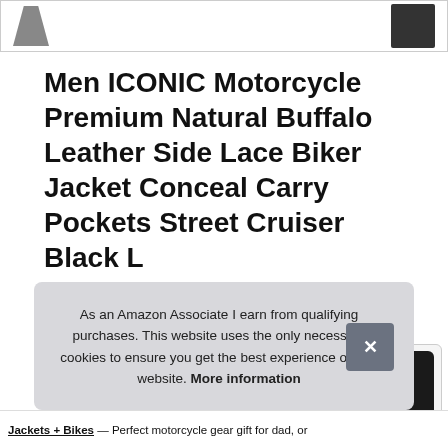[Figure (photo): Top strip showing partial product images — a dark leather jacket thumbnail on the left and a dark rectangular product image on the right, inside a bordered box]
Men ICONIC Motorcycle Premium Natural Buffalo Leather Side Lace Biker Jacket Conceal Carry Pockets Street Cruiser Black L
#ad
[Figure (photo): Row of four product thumbnail images showing black leather motorcycle jackets from different angles, each in a rounded-corner bordered box]
As an Amazon Associate I earn from qualifying purchases. This website uses the only necessary cookies to ensure you get the best experience on our website. More information
Jackets + Bikes — Perfect motorcycle gear gift for dad, or...